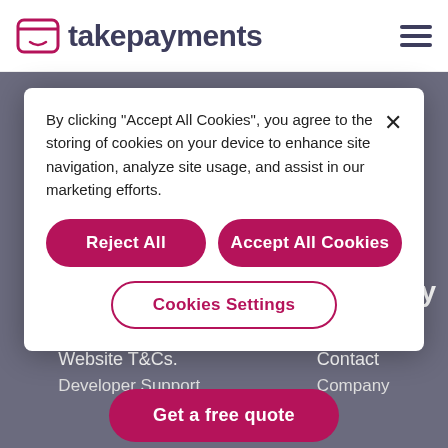takepayments
By clicking “Accept All Cookies”, you agree to the storing of cookies on your device to enhance site navigation, analyze site usage, and assist in our marketing efforts.
Reject All
Accept All Cookies
Cookies Settings
we make it easy
Website T&Cs.
Contact
Developer Support
Company
Get a free quote